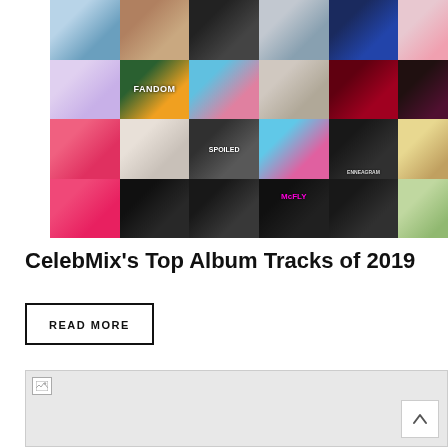[Figure (illustration): A 6x4 grid of music album covers for 2019 releases, showing colorful artwork including artists such as Taylor Swift, Kpop Fandom album, McFly, and others.]
CelebMix's Top Album Tracks of 2019
READ MORE
[Figure (other): A partially loaded image placeholder (broken image icon) with a light gray background, and a scroll-to-top arrow button in the bottom right corner.]